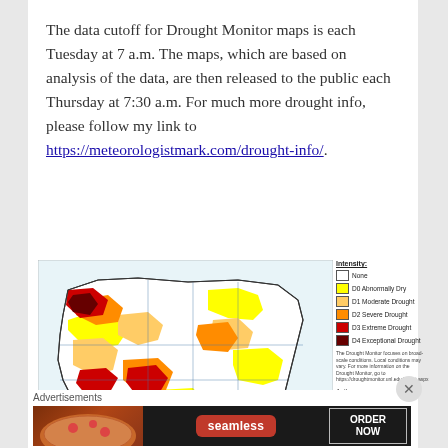The data cutoff for Drought Monitor maps is each Tuesday at 7 a.m. The maps, which are based on analysis of the data, are then released to the public each Thursday at 7:30 a.m. For much more drought info, please follow my link to https://meteorologistmark.com/drought-info/.
[Figure (map): US Drought Monitor map showing drought intensity across the continental United States. Legend shows: None (white), D0 Abnormally Dry (yellow), D1 Moderate Drought (light orange), D2 Severe Drought (orange), D3 Extreme Drought (red), D4 Exceptional Drought (dark red/maroon). Author: Deborah Bathke, National Drought Mitigation Center.]
Advertisements
[Figure (other): Seamless food delivery advertisement banner with pizza image on left, Seamless logo in center, and ORDER NOW button on right.]